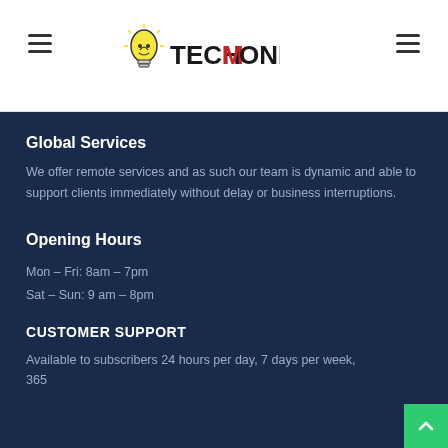TechMonkeys logo and navigation
Global Services
We offer remote services and as such our team is dynamic and able to support clients immediately without delay or business interruptions.
Opening Hours
Mon – Fri: 8am – 7pm
Sat – Sun: 9 am – 8pm
CUSTOMER SUPPORT
Available to subscribers 24 hours per day, 7 days per week, 365